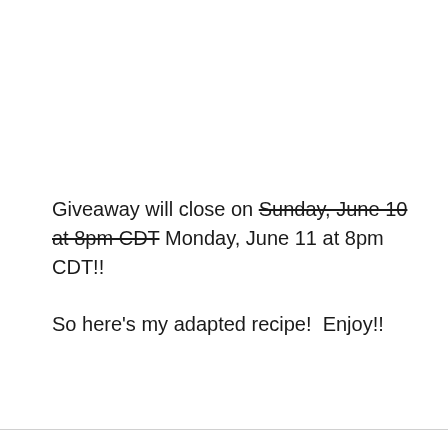Giveaway will close on Sunday, June 10 at 8pm CDT Monday, June 11 at 8pm CDT!!
So here's my adapted recipe!  Enjoy!!